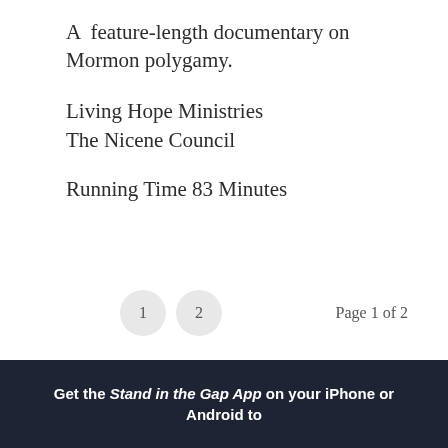A feature-length documentary on Mormon polygamy.
Living Hope Ministries
The Nicene Council
Running Time 83 Minutes
1  2    Page 1 of 2
Get the Stand in the Gap App on your iPhone or Android to